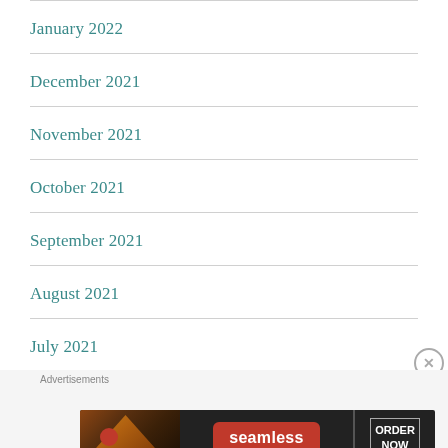January 2022
December 2021
November 2021
October 2021
September 2021
August 2021
July 2021
June 2021
[Figure (infographic): Seamless food delivery advertisement banner with pizza image on left, red Seamless logo in center, and ORDER NOW button on right, dark background]
Advertisements